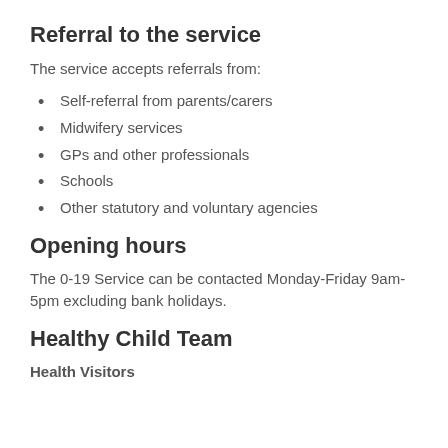Referral to the service
The service accepts referrals from:
Self-referral from parents/carers
Midwifery services
GPs and other professionals
Schools
Other statutory and voluntary agencies
Opening hours
The 0-19 Service can be contacted Monday-Friday 9am-5pm excluding bank holidays.
Healthy Child Team
Health Visitors